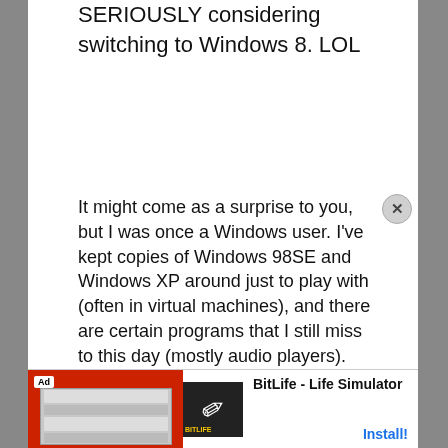SERIOUSLY considering switching to Windows 8. LOL
It might come as a surprise to you, but I was once a Windows user. I've kept copies of Windows 98SE and Windows XP around just to play with (often in virtual machines), and there are certain programs that I still miss to this day (mostly audio players). These days I tend to play around wtih them in Wine, although it's still not perfect. With the Windows desktop becoming a dead end, at least the Wine guys shouldn't have to be chasing a constantly-moving
[Figure (screenshot): Advertisement banner for BitLife - Life Simulator app with red background, app icon, and Install button]